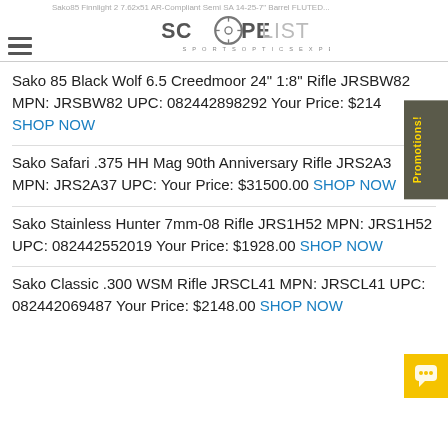ScopeList – Sports Optics Experts
Sako 85 Black Wolf 6.5 Creedmoor 24" 1:8" Rifle JRSBW82 MPN: JRSBW82 UPC: 082442898292 Your Price: $2148 SHOP NOW
Sako Safari .375 HH Mag 90th Anniversary Rifle JRS2A37 MPN: JRS2A37 UPC: Your Price: $31500.00 SHOP NOW
Sako Stainless Hunter 7mm-08 Rifle JRS1H52 MPN: JRS1H52 UPC: 082442552019 Your Price: $1928.00 SHOP NOW
Sako Classic .300 WSM Rifle JRSCL41 MPN: JRSCL41 UPC: 082442069487 Your Price: $2148.00 SHOP NOW